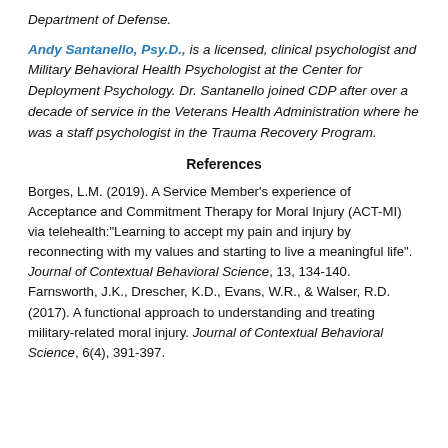Department of Defense.
Andy Santanello, Psy.D., is a licensed, clinical psychologist and Military Behavioral Health Psychologist at the Center for Deployment Psychology. Dr. Santanello joined CDP after over a decade of service in the Veterans Health Administration where he was a staff psychologist in the Trauma Recovery Program.
References
Borges, L.M. (2019). A Service Member's experience of Acceptance and Commitment Therapy for Moral Injury (ACT-MI) via telehealth:"Learning to accept my pain and injury by reconnecting with my values and starting to live a meaningful life". Journal of Contextual Behavioral Science, 13, 134-140.
Farnsworth, J.K., Drescher, K.D., Evans, W.R., & Walser, R.D. (2017). A functional approach to understanding and treating military-related moral injury. Journal of Contextual Behavioral Science, 6(4), 391-397.